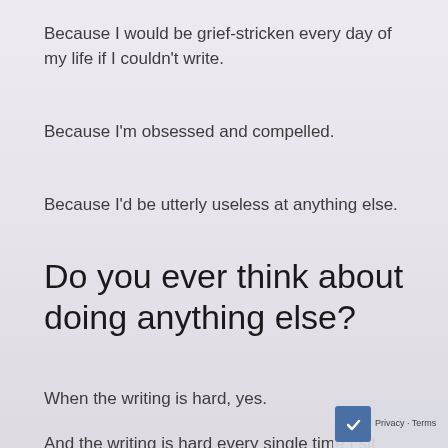Because I would be grief-stricken every day of my life if I couldn't write.
Because I'm obsessed and compelled.
Because I'd be utterly useless at anything else.
Do you ever think about doing anything else?
When the writing is hard, yes.
And the writing is hard every single time I sit down to do it, so I think about doing something else a lot. Mostly, I'd love to run a coffee bar or a tea house. Something you get to talk to lots of people all the time and be chocolate cake. Sometimes I think I'd like to be a f…